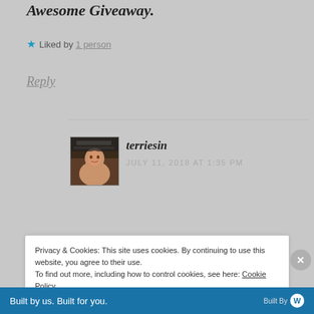Awesome Giveaway.
★ Liked by 1 person
Reply
terriesin
JULY 11, 2018 AT 1:35 PM
Privacy & Cookies: This site uses cookies. By continuing to use this website, you agree to their use.
To find out more, including how to control cookies, see here: Cookie Policy
Close and accept
Built by us. Built for you.   Built By [WP]